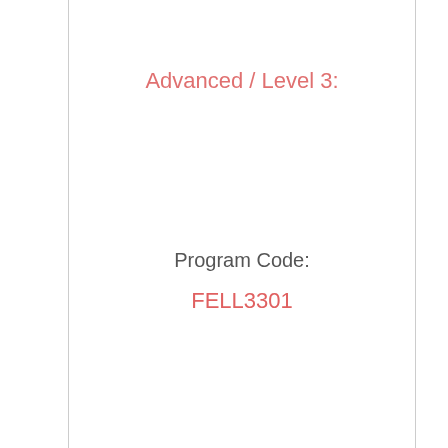Advanced / Level 3:
Program Code:
FELL3301
Program Schedule:
To be announced soon